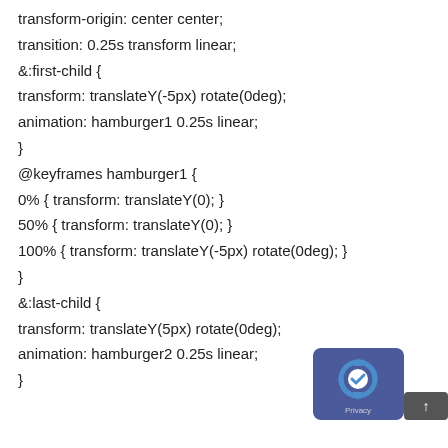transform-origin: center center;
transition: 0.25s transform linear;
&:first-child {
transform: translateY(-5px) rotate(0deg);
animation: hamburger1 0.25s linear;
}
@keyframes hamburger1 {
0% { transform: translateY(0); }
50% { transform: translateY(0); }
100% { transform: translateY(-5px) rotate(0deg); }
}
&:last-child {
transform: translateY(5px) rotate(0deg);
animation: hamburger2 0.25s linear;
}
[Figure (other): reCAPTCHA privacy badge with scroll-to-top button in bottom-right corner]